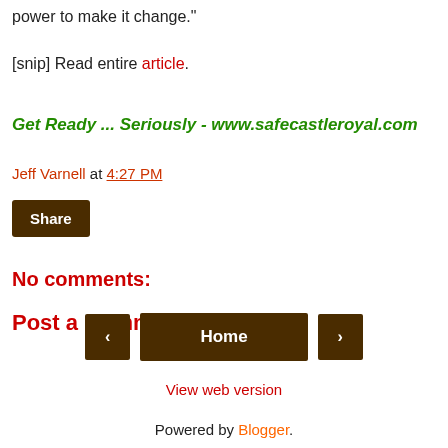power to make it change."
[snip] Read entire article.
Get Ready ... Seriously - www.safecastleroyal.com
Jeff Varnell at 4:27 PM
Share
No comments:
Post a Comment
‹  Home  ›
View web version
Powered by Blogger.